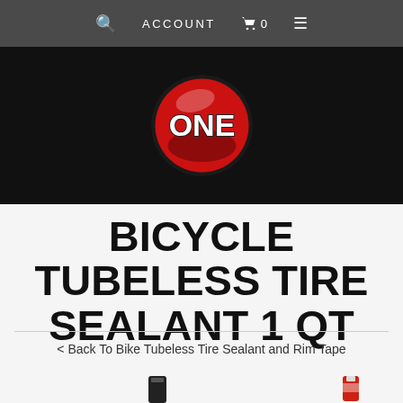ACCOUNT  🛒 0  ☰
[Figure (logo): ONE brand logo: red circle with 'ONE' text in white/black bold lettering on a black background banner]
BICYCLE TUBELESS TIRE SEALANT 1 QT
< Back To Bike Tubeless Tire Sealant and Rim Tape
[Figure (photo): Partially visible product images at bottom of page — two containers of tubeless tire sealant]